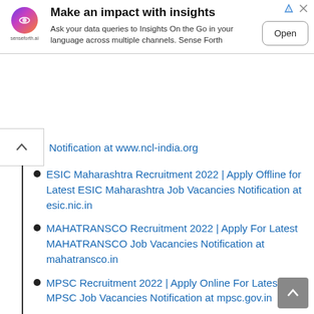[Figure (screenshot): Ad banner for senseforth.ai: logo on left, title 'Make an impact with insights', description text, and 'Open' button on right.]
Notification at www.ncl-india.org
ESIC Maharashtra Recruitment 2022 | Apply Offline for Latest ESIC Maharashtra Job Vacancies Notification at esic.nic.in
MAHATRANSCO Recruitment 2022 | Apply For Latest MAHATRANSCO Job Vacancies Notification at mahatransco.in
MPSC Recruitment 2022 | Apply Online For Latest MPSC Job Vacancies Notification at mpsc.gov.in
NLUD Recruitment 2022 | Apply Offline for Latest NLUD Job Vacancies